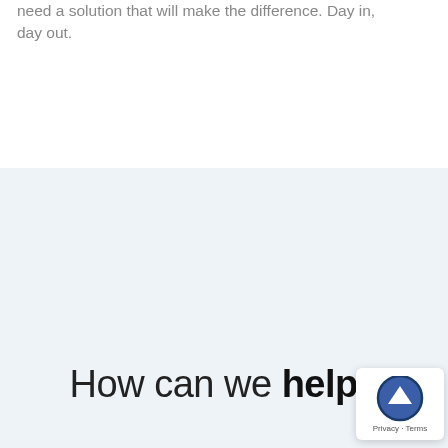need a solution that will make the difference. Day in, day out.
How can we help?
The future is redefined with each new day, bringing new decisions, new opportunities and new challenges. A strategic ally who is already ahead of the game can make all the difference.